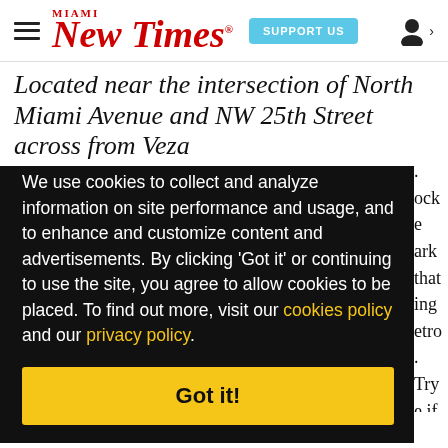Miami New Times | SUPPORT US
Located near the intersection of North Miami Avenue and NW 25th Street across from Veza
[Figure (screenshot): Cookie consent overlay on Miami New Times website. Black background with white text: 'We use cookies to collect and analyze information on site performance and usage, and to enhance and customize content and advertisements. By clicking Got it or continuing to use the site, you agree to allow cookies to be placed. To find out more, visit our cookies policy and our privacy policy.' Yellow 'Got it!' button at the bottom.]
you can become the MADMAX of Tenth Level